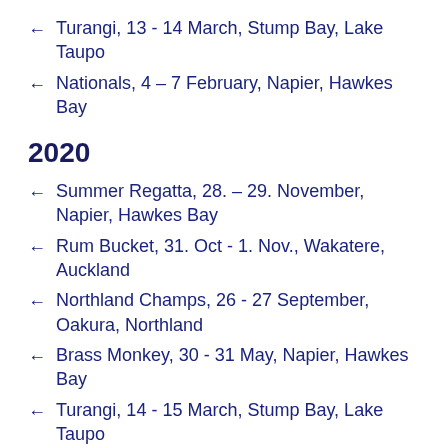Turangi, 13 - 14 March, Stump Bay, Lake Taupo
Nationals, 4 – 7 February, Napier, Hawkes Bay
2020
Summer Regatta, 28. – 29. November, Napier, Hawkes Bay
Rum Bucket, 31. Oct - 1. Nov., Wakatere, Auckland
Northland Champs, 26 - 27 September, Oakura, Northland
Brass Monkey, 30 - 31 May, Napier, Hawkes Bay
Turangi, 14 - 15 March, Stump Bay, Lake Taupo
National Championship, 5 - 7 February, Worser Bay Boating Club, Wellington
2019
Turangi, 6 - 7 April, Stump Bay, Lake Taupo